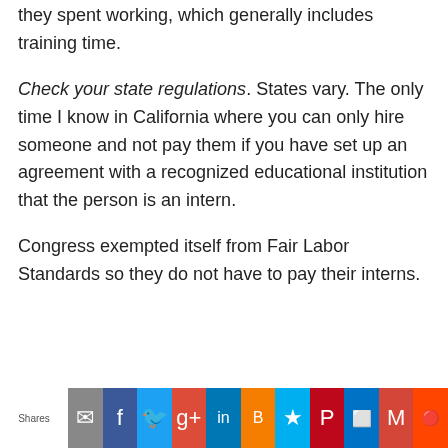they spent working, which generally includes training time.
Check your state regulations. States vary. The only time I know in California where you can only hire someone and not pay them if you have set up an agreement with a recognized educational institution that the person is an intern.
Congress exempted itself from Fair Labor Standards so they do not have to pay their interns.
Shares [email] [facebook] [twitter] [google+] [linkedin] [blogger] [bookmark] [pinterest] [outlook] [gmail] [reddit]